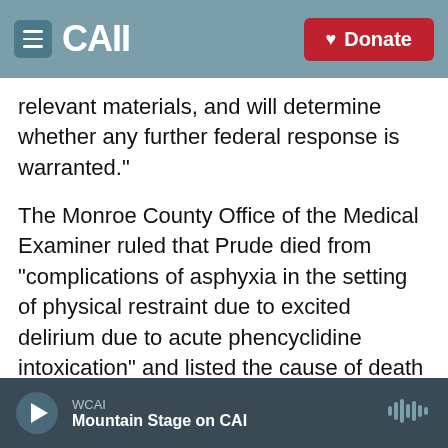CAI | Donate
relevant materials, and will determine whether any further federal response is warranted."
The Monroe County Office of the Medical Examiner ruled that Prude died from "complications of asphyxia in the setting of physical restraint due to excited delirium due to acute phencyclidine intoxication" and listed the cause of death as "homicide."
Several members of the Rochester Police Department command staff either resigned or were fired in the wake of the incident and ensuing protests, and city officials have pledged reforms
WCAI | Mountain Stage on CAI